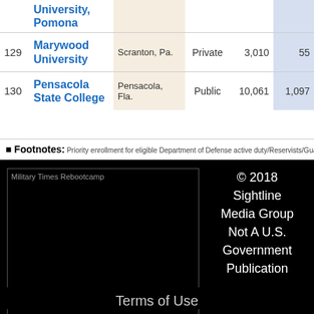| # | School | Location | Type | Enrollment | Veterans |
| --- | --- | --- | --- | --- | --- |
|  | California State Polytechnic University, Pomona |  |  |  |  |
| 129 | Marywood University | Scranton, Pa. | Private | 3,010 | 55 |
| 130 | Pensacola State College | Pensacola, Fla. | Public | 10,061 | 1,097 |
Footnotes: Priority enrollment for eligible Department of Defense active duty/Reservists/Guard. Enrollment totals represent full-time equivalent students. Data represents the 2016-17 academic year. Displayed years...
[Figure (logo): Military Times Rebootcamp logo image placeholder in black footer area]
© 2018 Sightline Media Group Not A U.S. Government Publication
Terms of Use